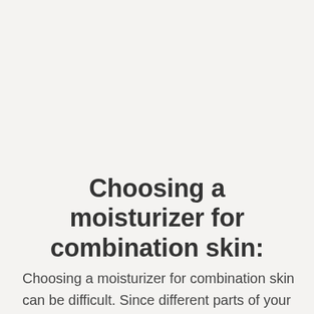Choosing a moisturizer for combination skin:
Choosing a moisturizer for combination skin can be difficult. Since different parts of your face have different types of skin, they need different types of moisturizers. The easiest way to deal with this problem is to target each area of your face with the appropriate moisturizer